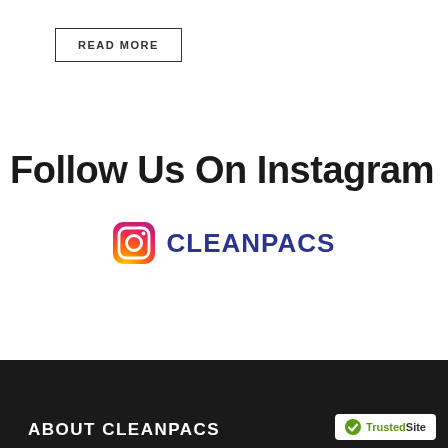READ MORE
Follow Us On Instagram
[Figure (logo): Instagram icon and CLEANPACS handle text in dark blue]
ABOUT CLEANPACS
[Figure (logo): TrustedSite badge with green checkmark]